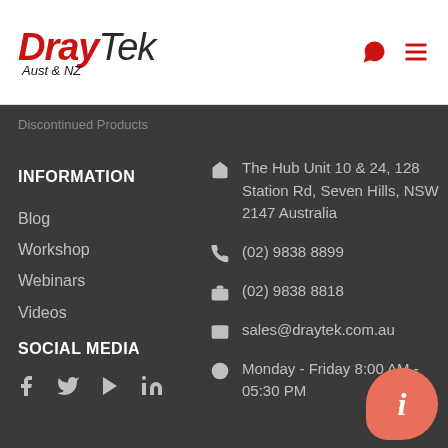DrayTek Aust & NZ
Discontinued Products
INFORMATION
Blog
Workshop
Webinars
Videos
SOCIAL MEDIA
[Figure (infographic): Social media icons: Facebook, Twitter, YouTube, LinkedIn]
The Hub Unit 10 & 24, 128 Station Rd, Seven Hills, NSW 2147 Australia
(02) 9838 8899
(02) 9838 8818
sales@draytek.com.au
Monday - Friday 8:00 AM - 05:30 PM